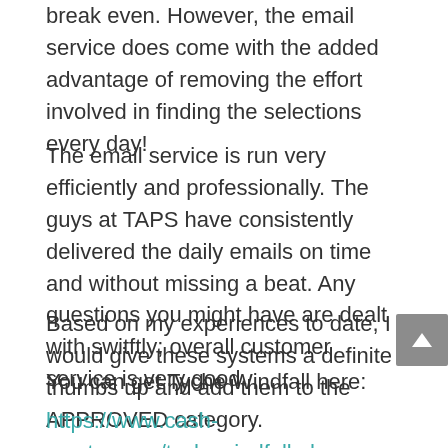break even. However, the email service does come with the added advantage of removing the effort involved in finding the selections every day!
The email service is run very efficiently and professionally. The guys at TAPS have consistently delivered the daily emails on time and without missing a beat. Any questions you might have are dealt with switftly; overall customer service is very good.
Based on my experiences to date, I would give these systems a definite thumbs up and add them to the APPROVED category.
You can get Tyche Windfall here:
https://www.cash-master.com/tychewindfall.php